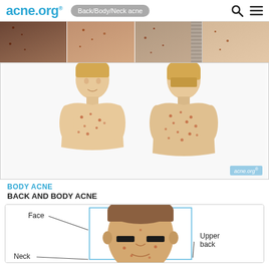acne.org® | Back/Body/Neck acne
[Figure (photo): Top row of four photos showing different skin tones with body/chest/back acne]
[Figure (illustration): Medical illustration showing front and back view of male torso with acne spots marked on chest and back, with acne.org watermark]
BODY ACNE
BACK AND BODY ACNE
[Figure (illustration): Diagram of face and upper body with labels: Face, Neck, Upper back, pointing to corresponding regions on a male face illustration inside a blue-bordered box]